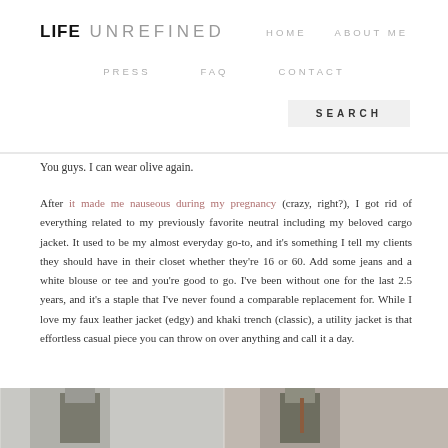LIFE UNREFINED  HOME  ABOUT ME  PRESS  FAQ  CONTACT  SEARCH
You guys. I can wear olive again.
After it made me nauseous during my pregnancy (crazy, right?), I got rid of everything related to my previously favorite neutral including my beloved cargo jacket. It used to be my almost everyday go-to, and it's something I tell my clients they should have in their closet whether they're 16 or 60. Add some jeans and a white blouse or tee and you're good to go. I've been without one for the last 2.5 years, and it's a staple that I've never found a comparable replacement for. While I love my faux leather jacket (edgy) and khaki trench (classic), a utility jacket is that effortless casual piece you can throw on over anything and call it a day.
[Figure (photo): Two photos showing olive/utility jackets worn as outfits]